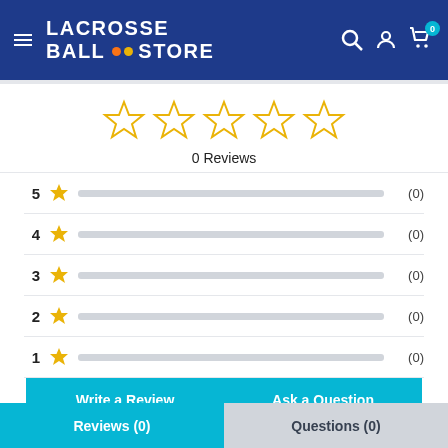LACROSSE BALL STORE - navigation header with hamburger menu, search, account, and cart icons
[Figure (other): Five empty gold star rating icons representing 0 out of 5 stars]
0 Reviews
| Rating | Star | Bar | Count |
| --- | --- | --- | --- |
| 5 | ★ | empty bar | (0) |
| 4 | ★ | empty bar | (0) |
| 3 | ★ | empty bar | (0) |
| 2 | ★ | empty bar | (0) |
| 1 | ★ | empty bar | (0) |
Write a Review
Ask a Question
Reviews (0)
Questions (0)